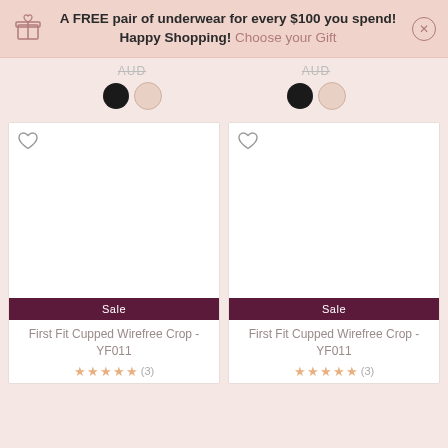A FREE pair of underwear for every $100 you spend! Happy Shopping! Choose your Gift
[Figure (screenshot): Product listing page showing two product cards with Sale banners and color swatches]
First Fit Cupped Wirefree Crop - YF011
First Fit Cupped Wirefree Crop - YF011
(3)
(3)